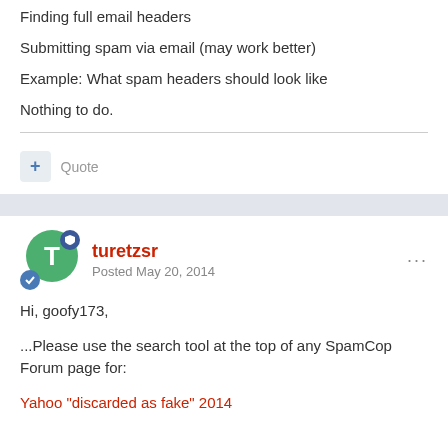Finding full email headers
Submitting spam via email (may work better)
Example: What spam headers should look like
Nothing to do.
+ Quote
turetzsr
Posted May 20, 2014
Hi, goofy173,
...Please use the search tool at the top of any SpamCop Forum page for:
Yahoo "discarded as fake" 2014